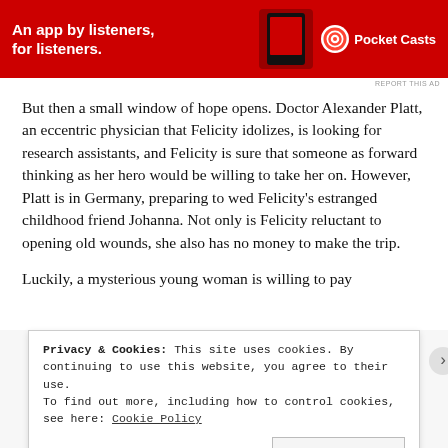[Figure (infographic): Red advertisement banner for Pocket Casts app. Text reads 'An app by listeners, for listeners.' with a phone graphic and Pocket Casts logo on the right.]
But then a small window of hope opens. Doctor Alexander Platt, an eccentric physician that Felicity idolizes, is looking for research assistants, and Felicity is sure that someone as forward thinking as her hero would be willing to take her on. However, Platt is in Germany, preparing to wed Felicity's estranged childhood friend Johanna. Not only is Felicity reluctant to opening old wounds, she also has no money to make the trip.
Luckily, a mysterious young woman is willing to pay
Privacy & Cookies: This site uses cookies. By continuing to use this website, you agree to their use. To find out more, including how to control cookies, see here: Cookie Policy
Close and accept